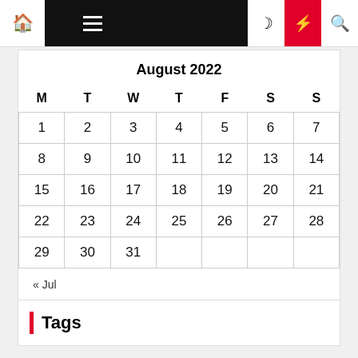Navigation bar with home, menu, moon, lightning, and search icons
August 2022
| M | T | W | T | F | S | S |
| --- | --- | --- | --- | --- | --- | --- |
| 1 | 2 | 3 | 4 | 5 | 6 | 7 |
| 8 | 9 | 10 | 11 | 12 | 13 | 14 |
| 15 | 16 | 17 | 18 | 19 | 20 | 21 |
| 22 | 23 | 24 | 25 | 26 | 27 | 28 |
| 29 | 30 | 31 |  |  |  |  |
« Jul
Tags